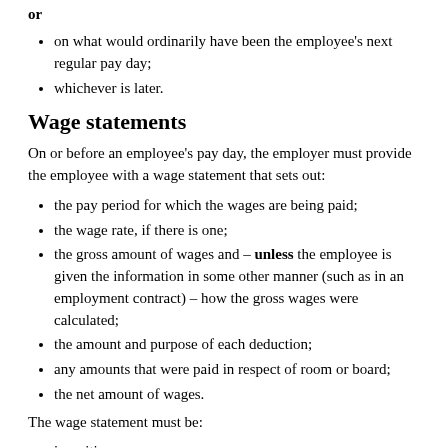on what would ordinarily have been the employee's next regular pay day;
whichever is later.
Wage statements
On or before an employee's pay day, the employer must provide the employee with a wage statement that sets out:
the pay period for which the wages are being paid;
the wage rate, if there is one;
the gross amount of wages and – unless the employee is given the information in some other manner (such as in an employment contract) – how the gross wages were calculated;
the amount and purpose of each deduction;
any amounts that were paid in respect of room or board;
the net amount of wages.
The wage statement must be:
in writing;
or
provided by e-mail if the employee has access to some